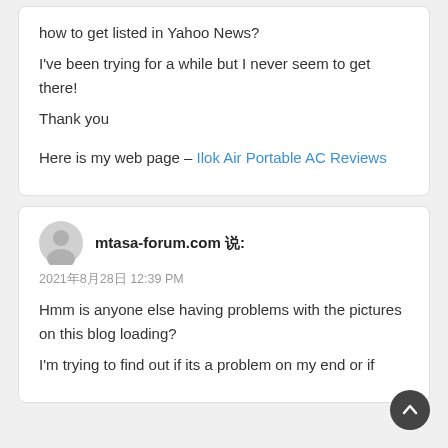how to get listed in Yahoo News?
I've been trying for a while but I never seem to get there!
Thank you

Here is my web page – Ilok Air Portable AC Reviews
mtasa-forum.com 说:
2021年8月28日 12:39 PM
Hmm is anyone else having problems with the pictures on this blog loading?
I'm trying to find out if its a problem on my end or if